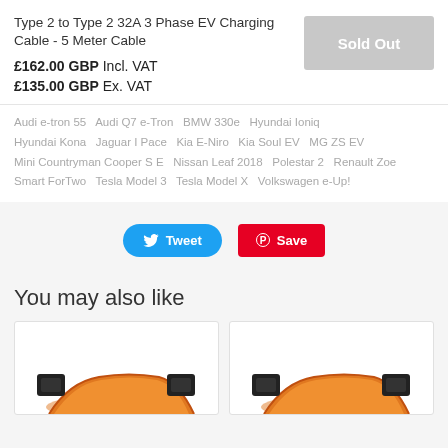Type 2 to Type 2 32A 3 Phase EV Charging Cable - 5 Meter Cable
£162.00 GBP Incl. VAT
£135.00 GBP Ex. VAT
Sold Out
Audi e-tron 55   Audi Q7 e-Tron   BMW 330e   Hyundai Ioniq   Hyundai Kona   Jaguar I Pace   Kia E-Niro   Kia Soul EV   MG ZS EV   Mini Countryman Cooper S E   Nissan Leaf 2018   Polestar 2   Renault Zoe   Smart ForTwo   Tesla Model 3   Tesla Model X   Volkswagen e-Up!
Tweet
Save
You may also like
[Figure (photo): Two product images of orange EV charging cables with black connectors, partially visible at the bottom of the page.]